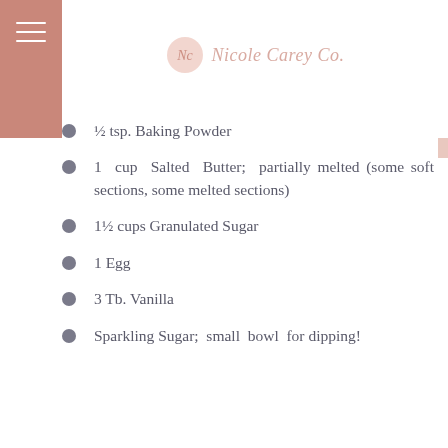Nicole Carey Co.
½ tsp. Baking Powder
1 cup Salted Butter; partially melted (some soft sections, some melted sections)
1½ cups Granulated Sugar
1 Egg
3 Tb. Vanilla
Sparkling Sugar; small bowl for dipping!